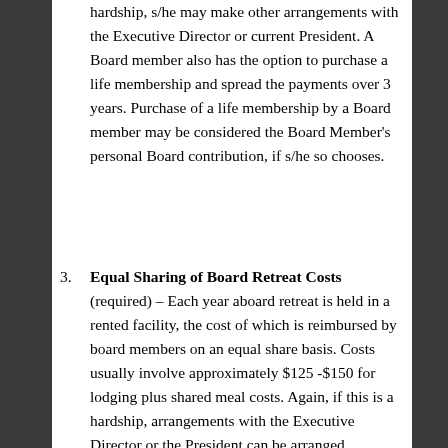hardship, s/he may make other arrangements with the Executive Director or current President. A Board member also has the option to purchase a life membership and spread the payments over 3 years. Purchase of a life membership by a Board member may be considered the Board Member's personal Board contribution, if s/he so chooses.
Equal Sharing of Board Retreat Costs (required) – Each year aboard retreat is held in a rented facility, the cost of which is reimbursed by board members on an equal share basis. Costs usually involve approximately $125 -$150 for lodging plus shared meal costs. Again, if this is a hardship, arrangements with the Executive Director or the President can be arranged